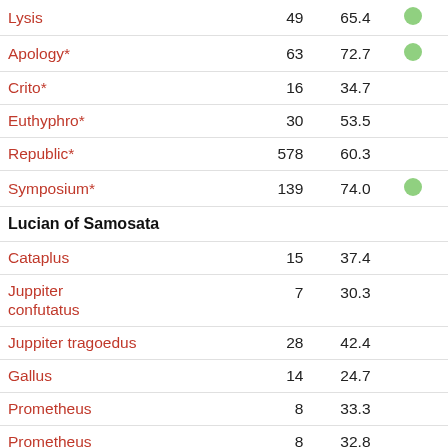| Work | N | Score |  |
| --- | --- | --- | --- |
| Lysis | 49 | 65.4 | ● |
| Apology* | 63 | 72.7 | ● |
| Crito* | 16 | 34.7 |  |
| Euthyphro* | 30 | 53.5 |  |
| Republic* | 578 | 60.3 |  |
| Symposium* | 139 | 74.0 | ● |
| Lucian of Samosata |  |  |  |
| Cataplus | 15 | 37.4 |  |
| Juppiter confutatus | 7 | 30.3 |  |
| Juppiter tragoedus | 28 | 42.4 |  |
| Gallus | 14 | 24.7 |  |
| Prometheus | 8 | 33.3 |  |
| Prometheus | 8 | 32.8 |  |